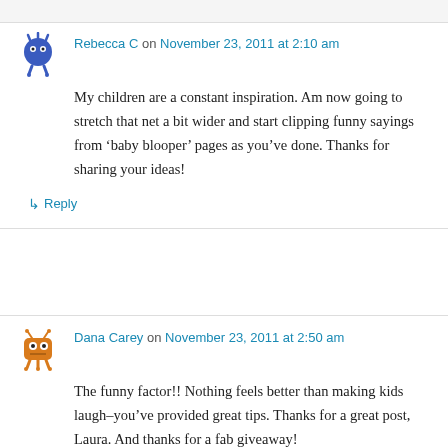Rebecca C on November 23, 2011 at 2:10 am
My children are a constant inspiration. Am now going to stretch that net a bit wider and start clipping funny sayings from ‘baby blooper’ pages as you’ve done. Thanks for sharing your ideas!
↳ Reply
Dana Carey on November 23, 2011 at 2:50 am
The funny factor!! Nothing feels better than making kids laugh–you’ve provided great tips. Thanks for a great post, Laura. And thanks for a fab giveaway!